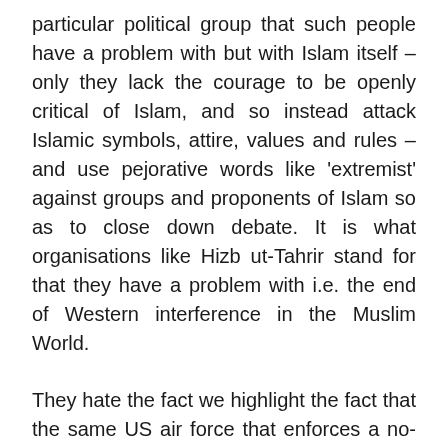particular political group that such people have a problem with but with Islam itself – only they lack the courage to be openly critical of Islam, and so instead attack Islamic symbols, attire, values and rules – and use pejorative words like 'extremist' against groups and proponents of Islam so as to close down debate. It is what organisations like Hizb ut-Tahrir stand for that they have a problem with i.e. the end of Western interference in the Muslim World.
They hate the fact we highlight the fact that the same US air force that enforces a no-fly zone in Libya, bombs civilians and undertakes extra-judicial assassinations in Pakistan's tribal areas. They dislike that we will remind people that the United States capitalised on its previous interventions by making 'liberated' countries like